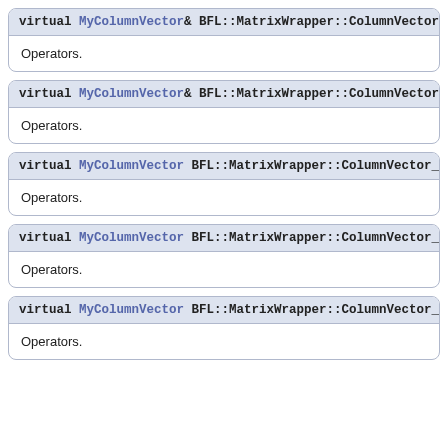virtual MyColumnVector& BFL::MatrixWrapper::ColumnVector_Wrapper... Operators.
virtual MyColumnVector& BFL::MatrixWrapper::ColumnVector_Wrapper... Operators.
virtual MyColumnVector BFL::MatrixWrapper::ColumnVector_Wrapper... Operators.
virtual MyColumnVector BFL::MatrixWrapper::ColumnVector_Wrapper... Operators.
virtual MyColumnVector BFL::MatrixWrapper::ColumnVector_Wrapper... Operators.